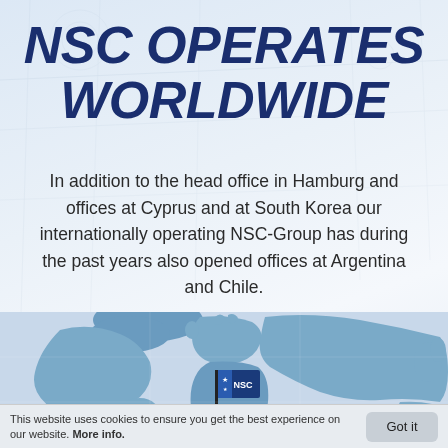NSC OPERATES WORLDWIDE
In addition to the head office in Hamburg and offices at Cyprus and at South Korea our internationally operating NSC-Group has during the past years also opened offices at Argentina and Chile.
[Figure (map): Blue relief world map showing continents in blue tones with an NSC logo/flag marker visible in the lower center area of the map.]
This website uses cookies to ensure you get the best experience on our website. More info.